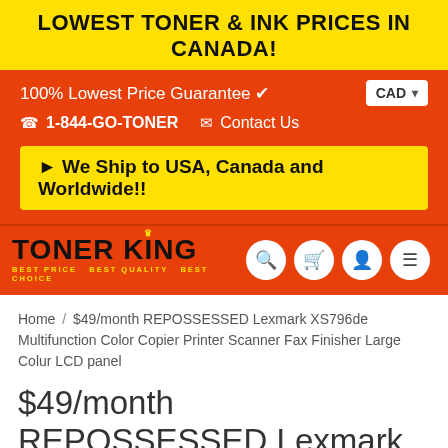LOWEST TONER & INK PRICES IN CANADA!
100% Lowest Price Guarantee ✔
CAD
☎ 1-844-GO-TONER   ✉ Contact Us
► We Ship to USA, Canada and Worldwide!!
[Figure (logo): TONER KING logo with crown icon, yellow subtitle text: BEST PRICE. BEST QUALITY. BEST CHOICE]
Home / $49/month REPOSSESSED Lexmark XS796de Multifunction Color Copier Printer Scanner Fax Finisher Large Colur LCD panel
$49/month REPOSSESSED Lexmark